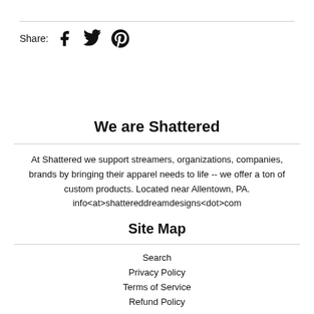Share: [Facebook] [Twitter] [Pinterest]
We are Shattered
At Shattered we support streamers, organizations, companies, brands by bringing their apparel needs to life -- we offer a ton of custom products. Located near Allentown, PA. info<at>shattereddreamdesigns<dot>com
Site Map
Search
Privacy Policy
Terms of Service
Refund Policy